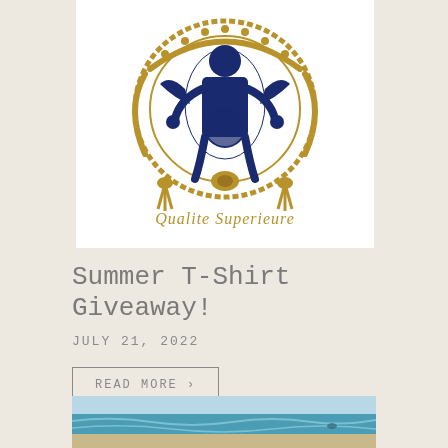[Figure (logo): A circular heraldic crest/emblem in navy blue and gold/tan colors featuring a figure (person) in the center holding something, surrounded by decorative rope or chain border with tassels at bottom, and cursive text reading 'Qualite Superieure' below]
Summer T-Shirt Giveaway!
JULY 21, 2022
READ MORE >
[Figure (photo): Partial view of a beach/ocean scene with blue water and waves, cropped at the bottom of the page]